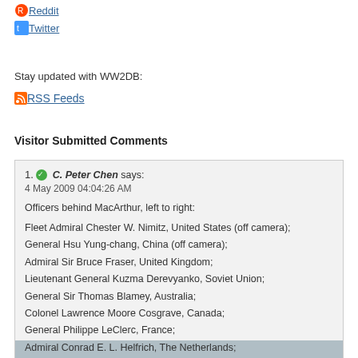Reddit
Twitter
Stay updated with WW2DB:
RSS Feeds
Visitor Submitted Comments
1. C. Peter Chen says:
4 May 2009 04:04:26 AM

Officers behind MacArthur, left to right:

Fleet Admiral Chester W. Nimitz, United States (off camera);
General Hsu Yung-chang, China (off camera);
Admiral Sir Bruce Fraser, United Kingdom;
Lieutenant General Kuzma Derevyanko, Soviet Union;
General Sir Thomas Blamey, Australia;
Colonel Lawrence Moore Cosgrave, Canada;
General Philippe LeClerc, France;
Admiral Conrad E. L. Helfrich, The Netherlands;
Air Vice Marshall Leonard M. Isitt, New Zealand;
Lieutenant General Richard K. Sutherland, United States